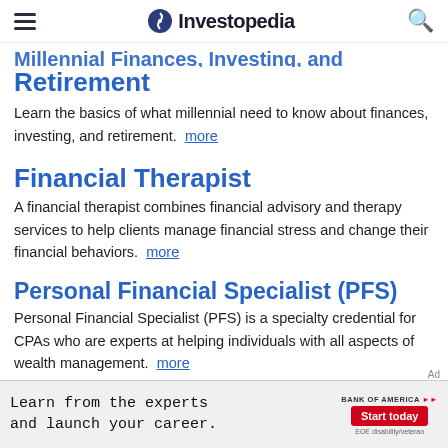Investopedia
Millennial Finances, Investing, and Retirement
Learn the basics of what millennial need to know about finances, investing, and retirement. more
Financial Therapist
A financial therapist combines financial advisory and therapy services to help clients manage financial stress and change their financial behaviors. more
Personal Financial Specialist (PFS)
Personal Financial Specialist (PFS) is a specialty credential for CPAs who are experts at helping individuals with all aspects of wealth management. more
What Does a Financial Planner Do?
Ad Learn from the experts and launch your career. BANK OF AMERICA Start today EOE disability/veteran